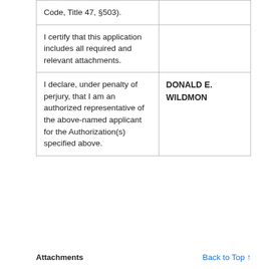| Code, Title 47, §503). |  |
| I certify that this application includes all required and relevant attachments. |  |
| I declare, under penalty of perjury, that I am an authorized representative of the above-named applicant for the Authorization(s) specified above. | DONALD E. WILDMON |
Attachments
Back to Top ↑